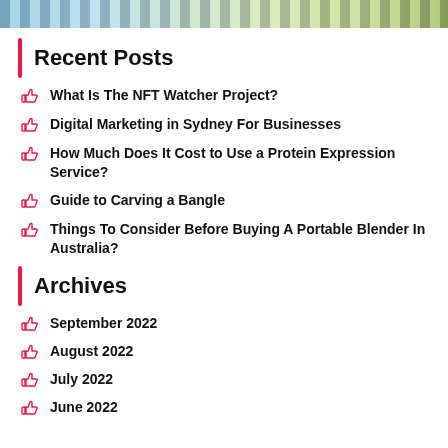[Figure (photo): Top portion of a person wearing a striped outfit, cropped image strip at top of page]
Recent Posts
What Is The NFT Watcher Project?
Digital Marketing in Sydney For Businesses
How Much Does It Cost to Use a Protein Expression Service?
Guide to Carving a Bangle
Things To Consider Before Buying A Portable Blender In Australia?
Archives
September 2022
August 2022
July 2022
June 2022